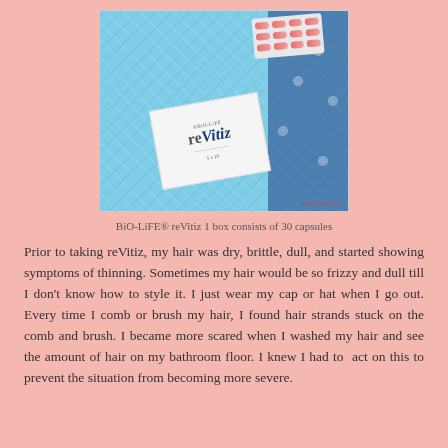[Figure (photo): Photo of BiO-LiFE reVitiz product box with blister pack of pink and white capsules on a blue patterned fabric background. Watermark reads sunshine-kelly.com]
BiO-LiFE® reVitiz 1 box consists of 30 capsules
Prior to taking reVitiz, my hair was dry, brittle, dull, and started showing symptoms of thinning. Sometimes my hair would be so frizzy and dull till I don't know how to style it. I just wear my cap or hat when I go out. Every time I comb or brush my hair, I found hair strands stuck on the comb and brush. I became more scared when I washed my hair and see the amount of hair on my bathroom floor. I knew I had to  act on this to prevent the situation from becoming more severe.